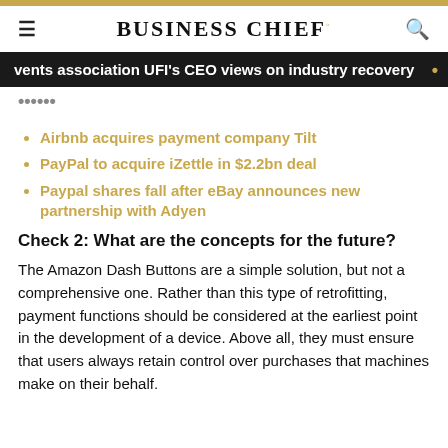BUSINESS CHIEF°
vents association UFI's CEO views on industry recovery
SEARCH
Airbnb acquires payment company Tilt
PayPal to acquire iZettle in $2.2bn deal
Paypal shares fall after eBay announces new partnership with Adyen
Check 2: What are the concepts for the future?
The Amazon Dash Buttons are a simple solution, but not a comprehensive one. Rather than this type of retrofitting, payment functions should be considered at the earliest point in the development of a device. Above all, they must ensure that users always retain control over purchases that machines make on their behalf.